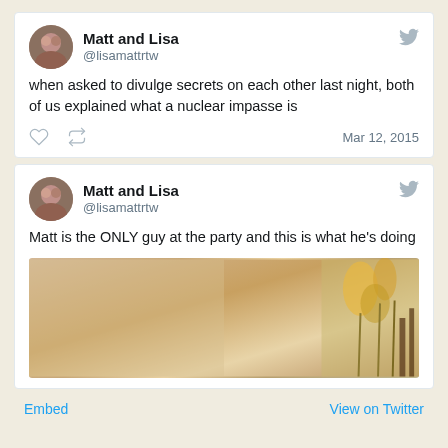Matt and Lisa
@lisamattrtw
when asked to divulge secrets on each other last night, both of us explained what a nuclear impasse is
Mar 12, 2015
Matt and Lisa
@lisamattrtw
Matt is the ONLY guy at the party and this is what he's doing
[Figure (photo): Party photo showing a warm indoor scene with floral decorations and what appears to be an art piece or flower arrangement]
Embed   View on Twitter